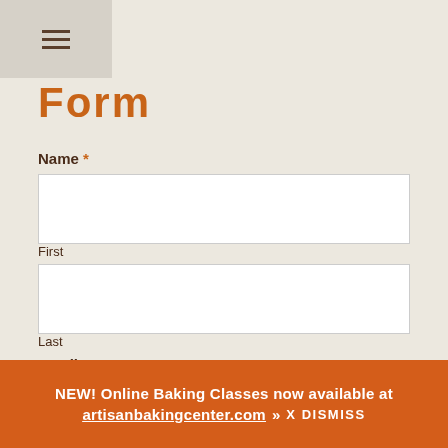≡ (hamburger/navigation menu)
Form
Name *
First
Last
Email *
Phone
NEW! Online Baking Classes now available at artisanbakingcenter.com » X DISMISS